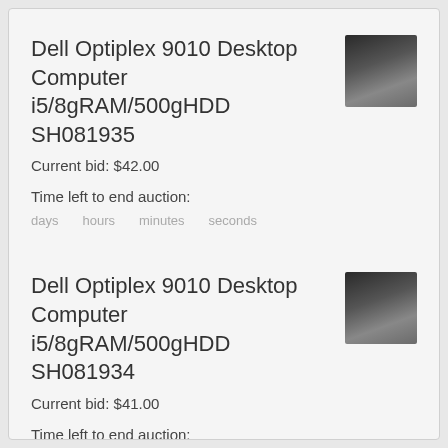Dell Optiplex 9010 Desktop Computer i5/8gRAM/500gHDD SH081935
Current bid: $42.00
Time left to end auction:
days    hours    minutes    seconds
[Figure (photo): Photo of Dell Optiplex 9010 desktop computer, dark/black tower unit]
Dell Optiplex 9010 Desktop Computer i5/8gRAM/500gHDD SH081934
Current bid: $41.00
Time left to end auction:
days    hours    minutes    seconds
[Figure (photo): Photo of Dell Optiplex 9010 desktop computer, dark/black tower unit]